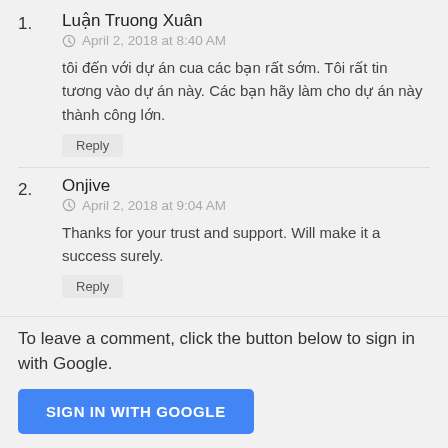1. Luận Truong Xuân — April 2, 2018 at 8:40 AM — tôi đến với dự án cua các bạn rất sớm. Tôi rất tin tương vào dự án này. Các bạn hãy làm cho dự án này thành công lớn. Reply
2. Onjive — April 2, 2018 at 9:04 AM — Thanks for your trust and support. Will make it a success surely. Reply
To leave a comment, click the button below to sign in with Google.